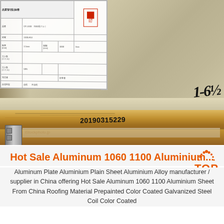[Figure (photo): Photograph of aluminum sheet coils stacked on a wooden pallet. A document/label with Chinese text and a table is visible in the top-left corner with a red stamp. The edge of the aluminum sheet has a serial number '20190315229' printed on the wood. A handwritten marking is visible on the upper right. A metal clamp/bracket is visible on the lower left side of the pallet.]
Hot Sale Aluminum 1060 1100 Aluminium...
Aluminum Plate Aluminium Plain Sheet Aluminium Alloy manufacturer / supplier in China offering Hot Sale Aluminum 1060 1100 Aluminium Sheet From China Roofing Material Prepainted Color Coated Galvanized Steel Coil Color Coated